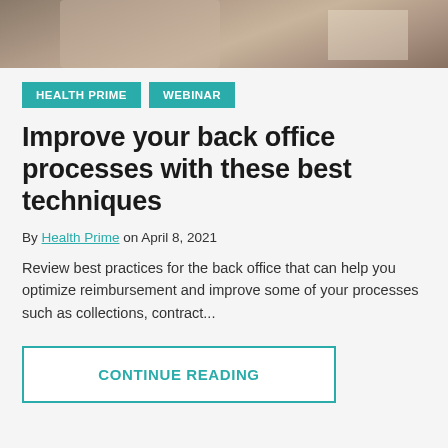[Figure (photo): Partial photo at top of page showing a person at a desk with papers, cropped to a horizontal strip]
HEALTH PRIME   WEBINAR
Improve your back office processes with these best techniques
By Health Prime on April 8, 2021
Review best practices for the back office that can help you optimize reimbursement and improve some of your processes such as collections, contract...
CONTINUE READING